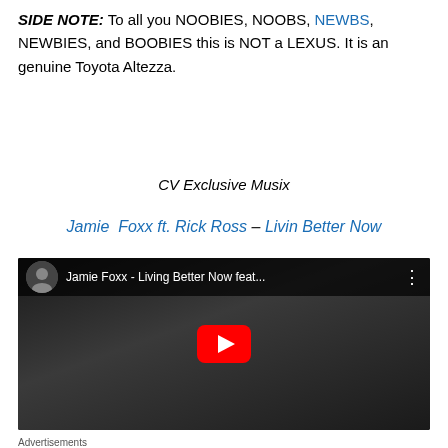SIDE NOTE: To all you NOOBIES, NOOBS, NEWBS, NEWBIES, and BOOBIES this is NOT a LEXUS. It is an genuine Toyota Altezza.
CV Exclusive Musix
Jamie Foxx ft. Rick Ross – Livin Better Now
[Figure (screenshot): YouTube video embed showing Jamie Foxx - Living Better Now feat... with a play button overlay and channel avatar in the top bar.]
Advertisements
[Figure (screenshot): DuckDuckGo advertisement banner: Search, browse, and email with more privacy. All in One Free App]